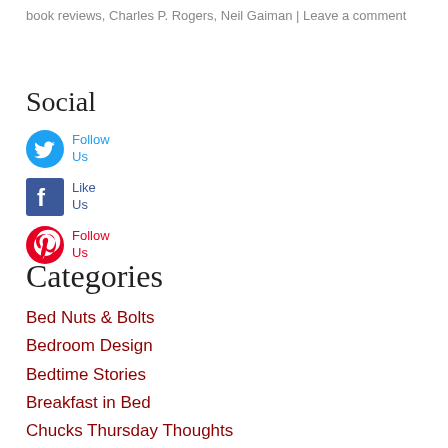book reviews, Charles P. Rogers, Neil Gaiman | Leave a comment
Social
[Figure (other): Twitter Follow Us icon button]
[Figure (other): Facebook Like Us icon button]
[Figure (other): Pinterest Follow Us icon button]
Categories
Bed Nuts & Bolts
Bedroom Design
Bedtime Stories
Breakfast in Bed
Chucks Thursday Thoughts
Inside Look
Mattress Information